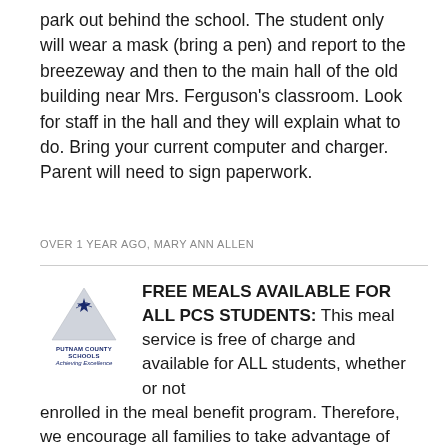park out behind the school. The student only will wear a mask (bring a pen) and report to the breezeway and then to the main hall of the old building near Mrs. Ferguson's classroom. Look for staff in the hall and they will explain what to do. Bring your current computer and charger. Parent will need to sign paperwork.
OVER 1 YEAR AGO, MARY ANN ALLEN
[Figure (logo): Putnam County Schools logo with star/bird graphic and tagline Achieving Excellence]
FREE MEALS AVAILABLE FOR ALL PCS STUDENTS: This meal service is free of charge and available for ALL students, whether or not enrolled in the meal benefit program. Therefore, we encourage all families to take advantage of this opportunity. Daily pick-up times for meals are from 11:00 am - 12:30 pm at each school. Families will pick-up meals at their